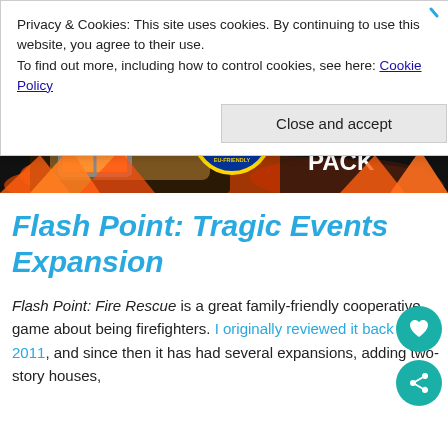Privacy & Cookies: This site uses cookies. By continuing to use this website, you agree to their use. To find out more, including how to control cookies, see here: Cookie Policy
Close and accept
[Figure (illustration): Hero banner image for Flash Point: Tragic Events Expansion showing a firefighter in gear against a fiery background with the text EVENTS EXPANSION PACK and a EU-friendly project badge]
Flash Point: Tragic Events Expansion
Flash Point: Fire Rescue is a great family-friendly cooperative game about being firefighters. I originally reviewed it back in 2011, and since then it has had several expansions, adding two-story houses,